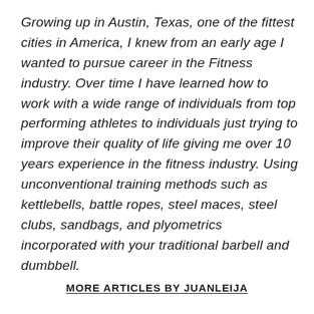Growing up in Austin, Texas, one of the fittest cities in America, I knew from an early age I wanted to pursue career in the Fitness industry. Over time I have learned how to work with a wide range of individuals from top performing athletes to individuals just trying to improve their quality of life giving me over 10 years experience in the fitness industry. Using unconventional training methods such as kettlebells, battle ropes, steel maces, steel clubs, sandbags, and plyometrics incorporated with your traditional barbell and dumbbell.
MORE ARTICLES BY JUANLEIJA